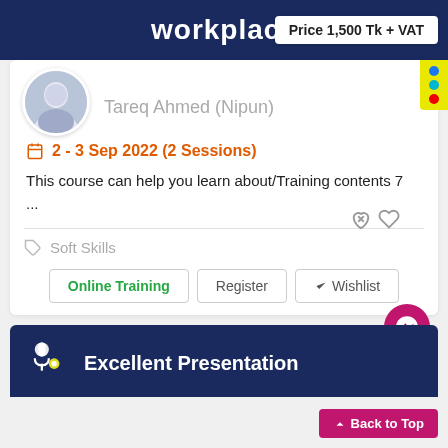workplace
Price 1,500 Tk + VAT
Tareq Ahmed (Nipun)
2 - 3 Sep 2022 (2 Sessions)
This course can help you learn about/Training contents 7
...
Soft Skills
Online Training
Register
✓ Wishlist
Excellent Presentation
Back to Top